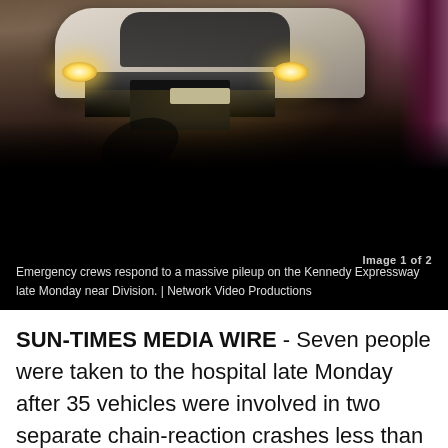[Figure (photo): Night photo of a damaged white car with crumpled front end, headlights on, on a dark roadway. Purple glow visible at upper right.]
Image 1 of 2
Emergency crews respond to a massive pileup on the Kennedy Expressway late Monday near Division. | Network Video Productions
SUN-TIMES MEDIA WIRE - Seven people were taken to the hospital late Monday after 35 vehicles were involved in two separate chain-reaction crashes less than a mile apart on the Kennedy Expressway.